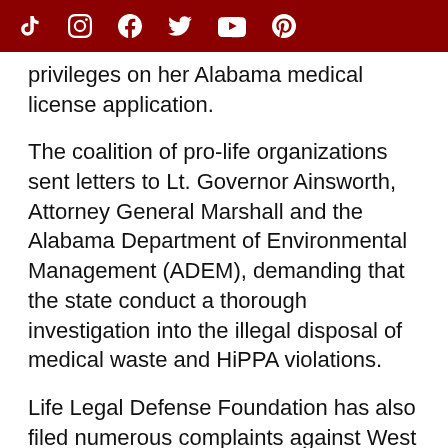[social media icons: TikTok, Instagram, Facebook, Twitter, YouTube, Pinterest]
privileges on her Alabama medical license application.
The coalition of pro-life organizations sent letters to Lt. Governor Ainsworth, Attorney General Marshall and the Alabama Department of Environmental Management (ADEM), demanding that the state conduct a thorough investigation into the illegal disposal of medical waste and HiPPA violations.
Life Legal Defense Foundation has also filed numerous complaints against West Alabama Women's Center with the Alabama